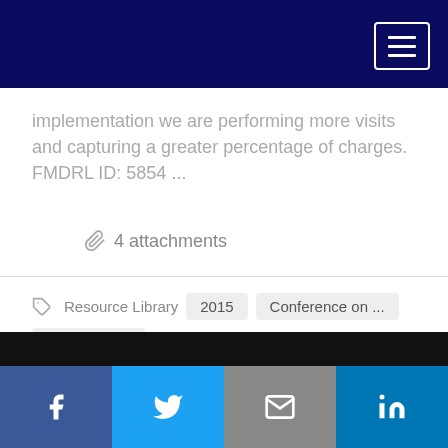implementation we are performing more visits and capturing a greater percentage of charges. FMDRL ID: 5854 ...
📎 4 attachments
🏷 Resource Library  2015  Conference on ...  Conferences
Showing 1-10 of 514 results
Pagination: 1 2 3 4 5 6 7 8 9 10 » »»
Facebook Twitter Email LinkedIn